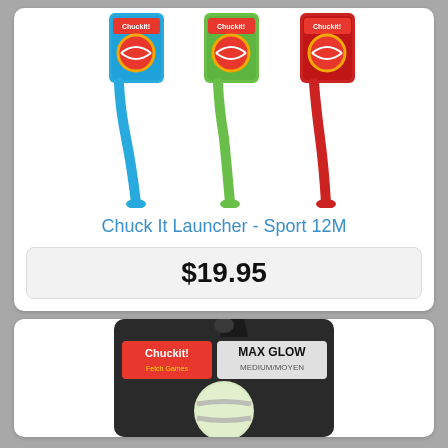[Figure (photo): Three Chuckit! Sport 12M ball launchers in blue, green, and red colors on retail packaging cards, displayed side by side]
Chuck It Launcher - Sport 12M
$19.95
[Figure (photo): Chuckit! Max Glow ball in retail packaging, partially visible at bottom of page]